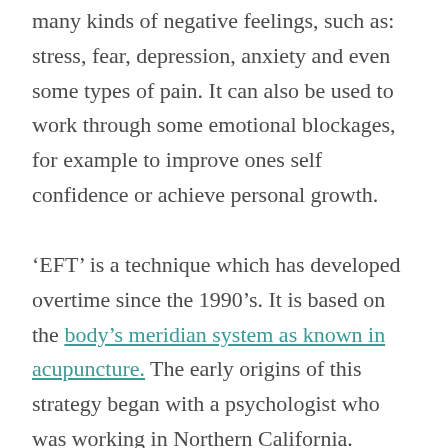many kinds of negative feelings, such as: stress, fear, depression, anxiety and even some types of pain. It can also be used to work through some emotional blockages, for example to improve ones self confidence or achieve personal growth.
'EFT' is a technique which has developed overtime since the 1990's. It is based on the body's meridian system as known in acupuncture. The early origins of this strategy began with a psychologist who was working in Northern California. Dissatisfied with the